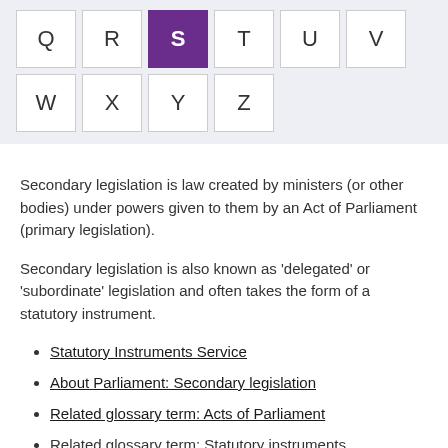[Figure (other): Alphabet navigation grid showing letters Q R S T U V in first row and W X Y Z in second row, with S highlighted in purple]
Secondary legislation is law created by ministers (or other bodies) under powers given to them by an Act of Parliament (primary legislation).
Secondary legislation is also known as 'delegated' or 'subordinate' legislation and often takes the form of a statutory instrument.
Statutory Instruments Service
About Parliament: Secondary legislation
Related glossary term: Acts of Parliament
Related glossary term: Statutory instruments